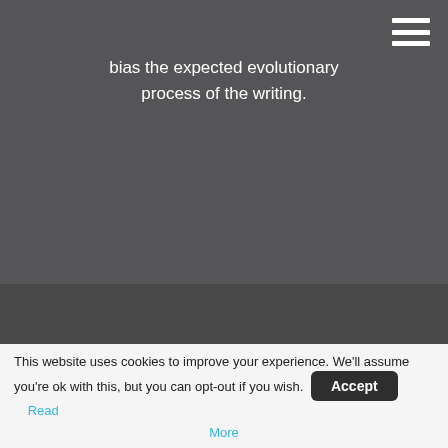bias the expected evolutionary process of the writing.
MATERIALS
This website uses cookies to improve your experience. We'll assume you're ok with this, but you can opt-out if you wish. Accept Read More